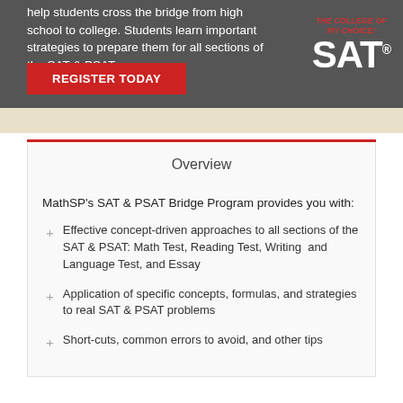[Figure (illustration): Dark gray banner with SAT program promotional text, a red 'REGISTER TODAY' button, SAT logo with 'The College of My Choice' text, and a decorative background with geometric shapes and a hand holding papers.]
Overview
MathSP's SAT & PSAT Bridge Program provides you with:
Effective concept-driven approaches to all sections of the SAT & PSAT: Math Test, Reading Test, Writing and Language Test, and Essay
Application of specific concepts, formulas, and strategies to real SAT & PSAT problems
Short-cuts, common errors to avoid, and other tips